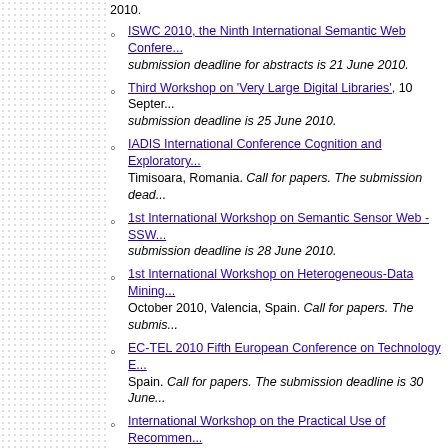ISWC 2010, the Ninth International Semantic Web Conference. submission deadline for abstracts is 21 June 2010.
Third Workshop on 'Very Large Digital Libraries', 10 September. submission deadline is 25 June 2010.
IADIS International Conference Cognition and Exploratory. Timisoara, Romania. Call for papers. The submission dead...
1st International Workshop on Semantic Sensor Web - SSW. submission deadline is 28 June 2010.
1st International Workshop on Heterogeneous-Data Mining. October 2010, Valencia, Spain. Call for papers. The submis...
EC-TEL 2010 Fifth European Conference on Technology E. Spain. Call for papers. The submission deadline is 30 June...
International Workshop on the Practical Use of Recommenden. September 2010, Barcelona, Spain. Call for papers. The su...
4th International Conference on Bio-inspired Systems and. Italy. Call for papers. The submission deadline is 6 July 201...
4th International Conference on Health Informatics (HEALT). submission deadline is 6 July 2010.
4th International Joint Conference on Biomedical Engineeri. 2011, Rome, Italy. Call for papers. The submission deadline...
2nd International Conference on Bioinformatics (BIOINFOR). submission deadline is 6 July 2010.
4th International Conference on Biomedical Electronics and. for papers. The submission deadline is 6 July 2010.
3rd International Conference on Agents and Artificial Intelli...